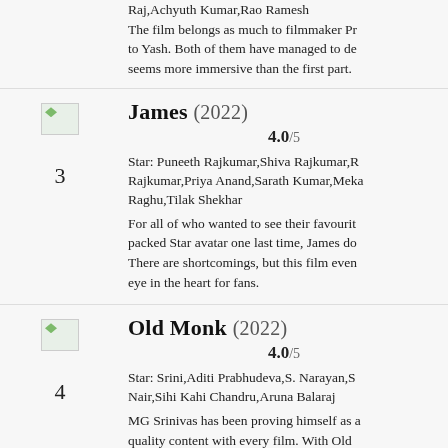Raj,Achyuth Kumar,Rao Ramesh
The film belongs as much to filmmaker Pr to Yash. Both of them have managed to de seems more immersive than the first part.
3
[Figure (photo): Small thumbnail image placeholder for James (2022)]
James (2022)
4.0/5
Star: Puneeth Rajkumar,Shiva Rajkumar,R Rajkumar,Priya Anand,Sarath Kumar,Meka Raghu,Tilak Shekhar
For all of who wanted to see their favourit packed Star avatar one last time, James do There are shortcomings, but this film even eye in the heart for fans.
4
[Figure (photo): Small thumbnail image placeholder for Old Monk (2022)]
Old Monk (2022)
4.0/5
Star: Srini,Aditi Prabhudeva,S. Narayan,S Nair,Sihi Kahi Chandru,Aruna Balaraj
MG Srinivas has been proving himself as a quality content with every film. With Old disappoint. The film marks his return to th